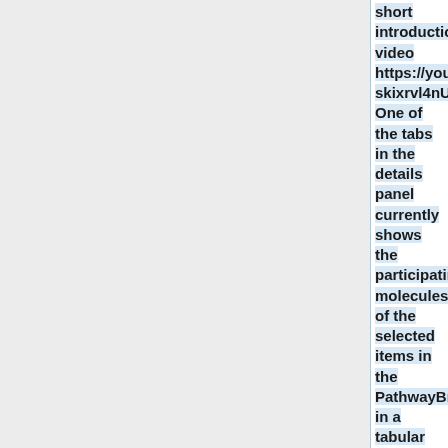short introduction video https://youtu.be/-skixrvl4nU). One of the tabs in the details panel currently shows the participating molecules of the selected items in the PathwayBrowser in a tabular fashion. The proposed project is to redesign the way in which participating molecules are shown to